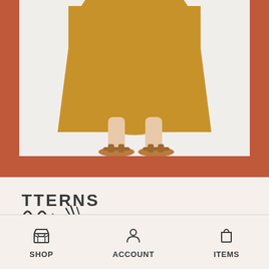[Figure (photo): Lower half of a person wearing a mustard yellow midi dress and tan strappy sandals, standing against a white background, set within a terracotta/rust colored page background]
[Figure (logo): Partial logo text reading 'TTERNS' with stylized brushstroke/pattern graphic marks below it, partially visible at bottom left]
SHOP   ACCOUNT   ITEMS